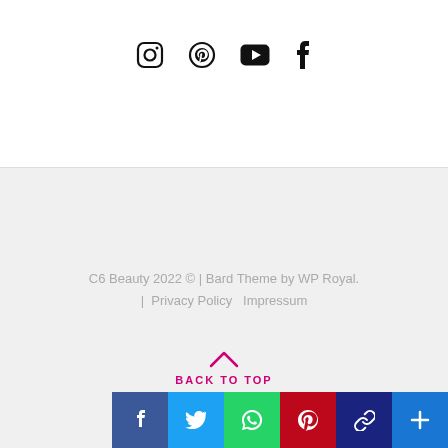[Figure (infographic): Social media icon row: Instagram, Pinterest, YouTube, Facebook icons in black]
C6 Beauty 2022 © | Bard Theme by WP Royal.
| Privacy Policy  Impressum
BACK TO TOP
[Figure (infographic): Social share bar with Facebook (blue), Twitter (light blue), WhatsApp (green), Pinterest (dark red), link (dark blue), plus/more (blue) buttons]